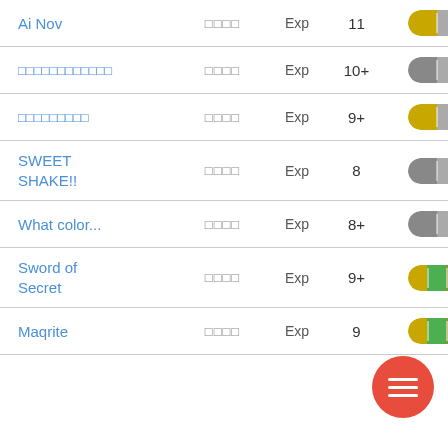| Name | Script | Type | Level | Badge |
| --- | --- | --- | --- | --- |
| Ai Nov | □□□□ | Exp | 11 | yellow-gray pill |
| □□□□□□□□□□□□ | □□□□ | Exp | 10+ | gray pill |
| □□□□□□□□□ | □□□□ | Exp | 9+ | yellow-gray pill |
| SWEET SHAKE!! | □□□□ | Exp | 8 | gray pill |
| What color... | □□□□ | Exp | 8+ | gray pill |
| Sword of Secret | □□□□ | Exp | 9+ | tri-color pill |
| Maqrite | □□□□ | Exp | 9 | tri-color pill |